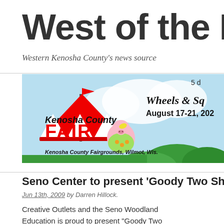West of the I
Western Kenosha County's news source
[Figure (illustration): Kenosha County Fair advertisement banner. Shows a red and white circus tent with a flag, cartoon pig character in a green dress, green trees, blue sky background. Text reads: 5 d... Wheels & Sq... August 17-21, 202... Kenosha County FAIR Kenosha County Fairgrounds, Wilmot, Wis.]
Seno Center to present ‘Goody Two Shoe…
Jun 13th, 2009 by Darren Hillock.
Creative Outlets and the Seno Woodland Education is proud to present “Goody Two Shoes” by Paul